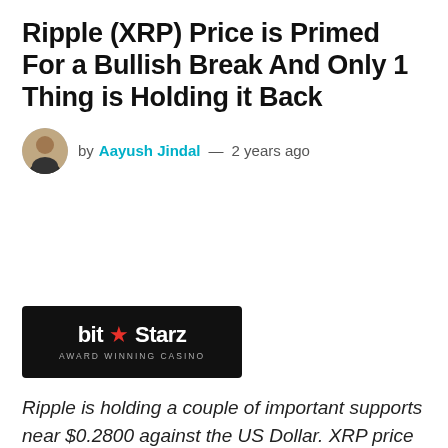Ripple (XRP) Price is Primed For a Bullish Break And Only 1 Thing is Holding it Back
by Aayush Jindal — 2 years ago
[Figure (logo): BitStarz Award Winning Casino advertisement logo on black background]
Ripple is holding a couple of important supports near $0.2800 against the US Dollar. XRP price is currently testing a crucial resistance near $0.2980, and more importantly and locally significant...